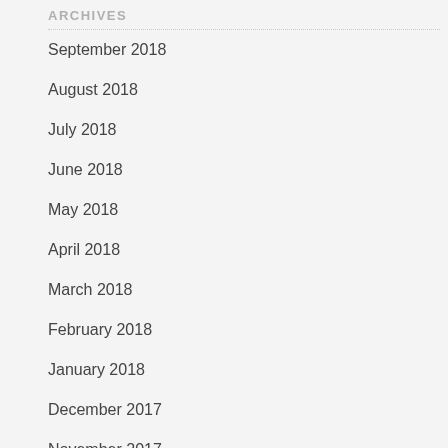ARCHIVES
September 2018
August 2018
July 2018
June 2018
May 2018
April 2018
March 2018
February 2018
January 2018
December 2017
November 2017